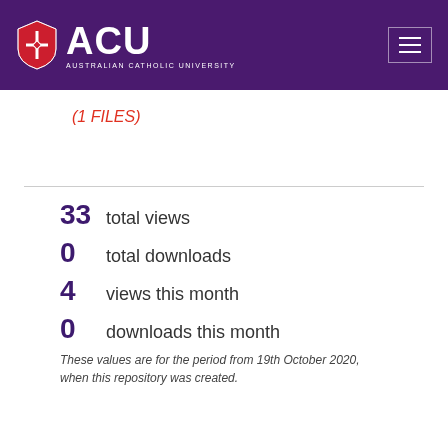[Figure (logo): ACU Australian Catholic University logo with shield on purple header background]
(1 FILES)
33  total views
0  total downloads
4  views this month
0  downloads this month
These values are for the period from 19th October 2020, when this repository was created.